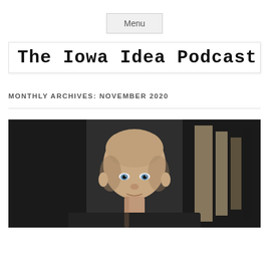Menu
The Iowa Idea Podcast
MONTHLY ARCHIVES: NOVEMBER 2020
[Figure (photo): Black and white portrait photo of a bald man with blue eyes, looking directly at camera, with a dark background and bookshelves or shelving visible behind him.]